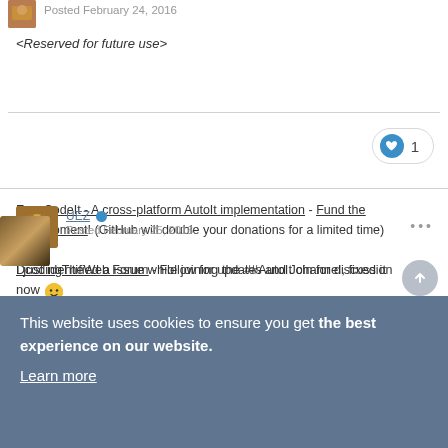Posted February 24, 2016
<Reserved for future use>
❤ 1
EasyCodeIt - A cross-platform AutoIt implementation - Fund the development! (GitHub will double your donations for a limited time)
DcodingTheWeb Forum - Follow for updates and Join for discussion
Posted February 25, 2016
I just identified a issue while joining the ##AutoIt channel, fixed it now 🙂
This website uses cookies to ensure you get the best experience on our website.
Learn more
Got it!